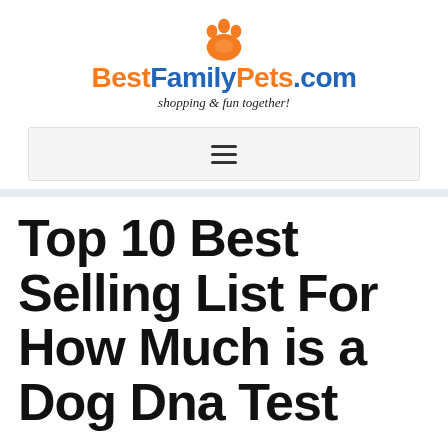[Figure (logo): BestFamilyPets.com logo with orange paw print icon above the text. 'Best' and 'Pets.com' in orange, 'Family' and '.com' in blue. Tagline: 'shopping & fun together!' in italic serif font.]
≡
Top 10 Best Selling List For How Much is a Dog Dna Test